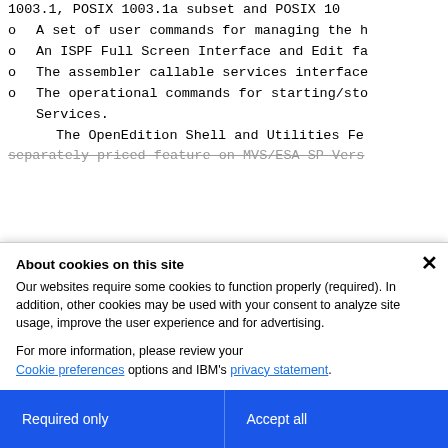1003.1, POSIX 1003.1a subset and POSIX 1003.1e subset
o   A set of user commands for managing the h
o   An ISPF Full Screen Interface and Edit fa
o   The assembler callable services interface
o   The operational commands for starting/sto Services.
The OpenEdition Shell and Utilities Fe
separately priced feature on MVS/ESA SP Vers
About cookies on this site
Our websites require some cookies to function properly (required). In addition, other cookies may be used with your consent to analyze site usage, improve the user experience and for advertising.

For more information, please review your Cookie preferences options and IBM's privacy statement.
Required only
Accept all